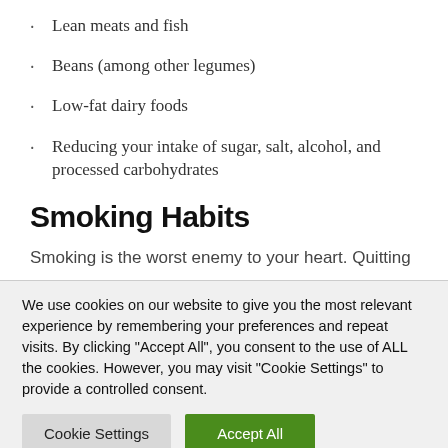Lean meats and fish
Beans (among other legumes)
Low-fat dairy foods
Reducing your intake of sugar, salt, alcohol, and processed carbohydrates
Smoking Habits
Smoking is the worst enemy to your heart. Quitting
We use cookies on our website to give you the most relevant experience by remembering your preferences and repeat visits. By clicking "Accept All", you consent to the use of ALL the cookies. However, you may visit "Cookie Settings" to provide a controlled consent.